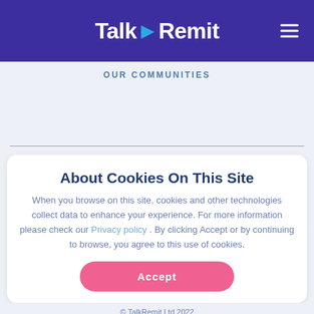TalkRemit
OUR COMMUNITIES
About Cookies On This Site
When you browse on this site, cookies and other technologies collect data to enhance your experience. For more information please check our Privacy policy . By clicking Accept or by continuing to browse, you agree to this use of cookies.
Accept
© TalkRemit Ltd 2022